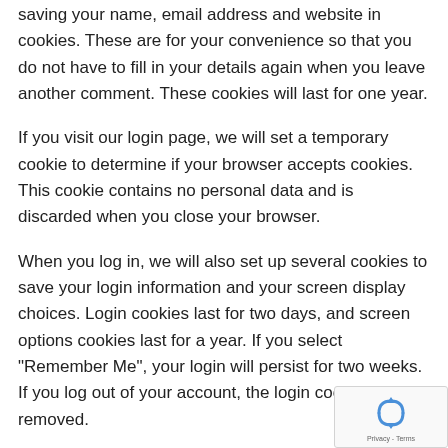saving your name, email address and website in cookies. These are for your convenience so that you do not have to fill in your details again when you leave another comment. These cookies will last for one year.
If you visit our login page, we will set a temporary cookie to determine if your browser accepts cookies. This cookie contains no personal data and is discarded when you close your browser.
When you log in, we will also set up several cookies to save your login information and your screen display choices. Login cookies last for two days, and screen options cookies last for a year. If you select "Remember Me", your login will persist for two weeks. If you log out of your account, the login cookies will be removed.
[Figure (logo): reCAPTCHA badge with recycling-arrow icon and Privacy - Terms text]